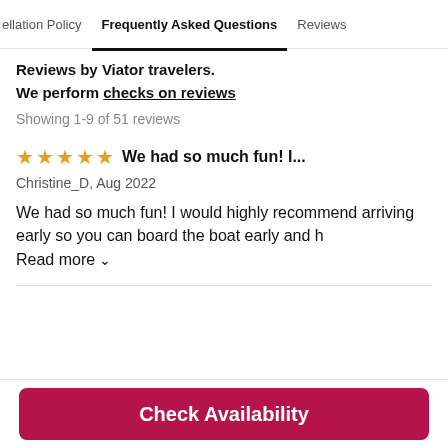ellation Policy   Frequently Asked Questions   Reviews
Reviews by Viator travelers.
We perform checks on reviews
Showing 1-9 of 51 reviews
★★★★★  We had so much fun! I...
Christine_D, Aug 2022
We had so much fun! I would highly recommend arriving early so you can board the boat early and h
Read more
Check Availability